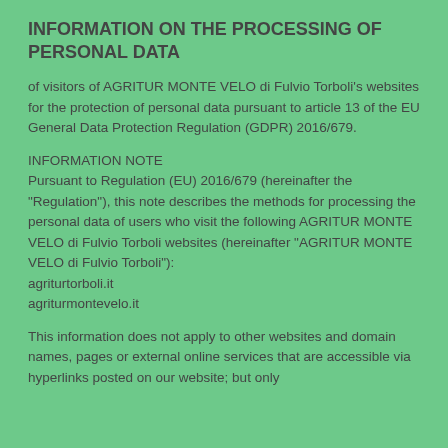INFORMATION ON THE PROCESSING OF PERSONAL DATA
of visitors of AGRITUR MONTE VELO di Fulvio Torboli's websites for the protection of personal data pursuant to article 13 of the EU General Data Protection Regulation (GDPR) 2016/679.
INFORMATION NOTE
Pursuant to Regulation (EU) 2016/679 (hereinafter the "Regulation"), this note describes the methods for processing the personal data of users who visit the following AGRITUR MONTE VELO di Fulvio Torboli websites (hereinafter "AGRITUR MONTE VELO di Fulvio Torboli"):
agriturtorboli.it
agriturmontevelo.it
This information does not apply to other websites and domain names, pages or external online services that are accessible via hyperlinks posted on our website; but only